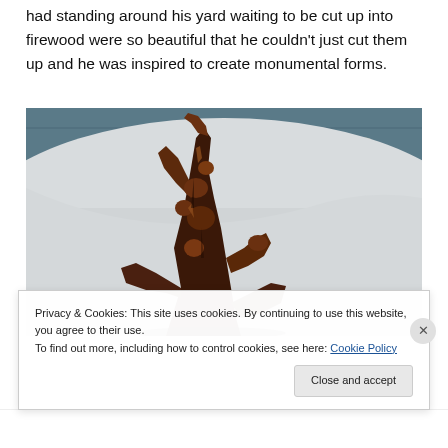had standing around his yard waiting to be cut up into firewood were so beautiful that he couldn't just cut them up and he was inspired to create monumental forms.
[Figure (photo): A large gnarled wood sculpture displayed in a gallery with blue-grey ceiling and light-coloured walls. The sculpture is dark reddish-brown with twisted organic forms rising upward.]
Privacy & Cookies: This site uses cookies. By continuing to use this website, you agree to their use.
To find out more, including how to control cookies, see here: Cookie Policy